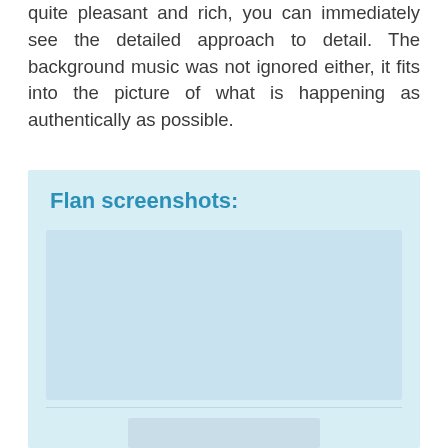quite pleasant and rich, you can immediately see the detailed approach to detail. The background music was not ignored either, it fits into the picture of what is happening as authentically as possible.
[Figure (screenshot): A light blue box labeled 'Flan screenshots:' containing placeholder screenshot image areas — one large area at top and one smaller centered area below a divider line.]